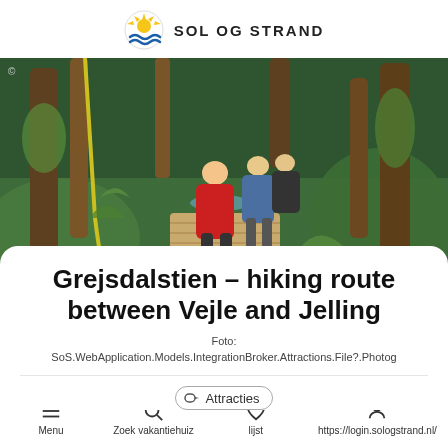SOL OG STRAND
[Figure (photo): Group of people hiking on a wooden path in a lush, mossy forest]
Grejsdalstien – hiking route between Vejle and Jelling
Foto: SoS.WebApplication.Models.IntegrationBroker.Attractions.File?.Photog
Attracties
Menu  Zoek vakantiehuiz  lijst  https://login.sologstrand.nl/